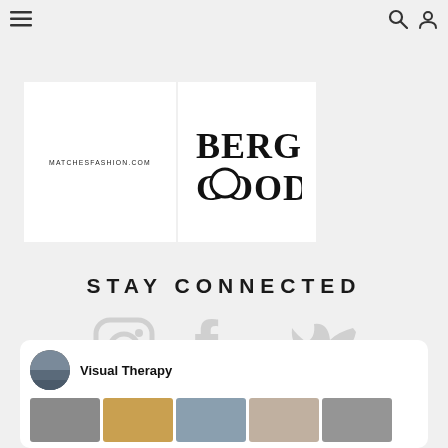Navigation bar with menu, search, and user icons
[Figure (logo): MATCHESFASHION.COM logo on white background]
[Figure (logo): BERGDORF GOODMAN logo on white background]
STAY CONNECTED
[Figure (infographic): Social media icons: Instagram, Facebook, Twitter (white icons on grey background)]
Visual Therapy
[Figure (photo): Row of five thumbnail images in the Visual Therapy Pinterest-style card]